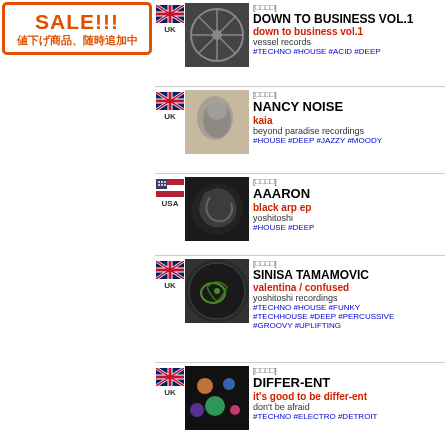[Figure (infographic): SALE!!! 値下げ商品、随時追加中 banner with orange border]
[□□□□] DOWN TO BUSINESS VOL.1 | down to business vol.1 | vessel records | #TECHNO #HOUSE #ACID #DEEP | 2017 | UK | [B-2m Funk]
[□□□□] NANCY NOISE | kaia | beyond paradise recordings | #HOUSE #DEEP #JAZZY #MOODY | 2017 | UK | [HOU A1: Besc Mix) ]
[□□□□] AAARON | black arp ep | yoshitoshi | #HOUSE #DEEP | 2017 | USA | [HOU A1: Rem]
[□□□□] SINISA TAMAMOVIC | valentina / confused | yoshitoshi recordings | #TECHNO #HOUSE #FUNKY #TECHHOUSE #DEEP #PERCUSSIVE #GROOVY #UPLIFTING | 2017 | UK | [HO A1: ]
[□□□□] DIFFER-ENT | it's good to be differ-ent | don't be afraid | #TECHNO #ELECTRO #DETROIT | 2017 | UK | [TE A1: Allen ]
[□□□□] THE MEKANISM | breath | play it say it | #HOUSE #TECHHOUSE #ACID #DEEP | 2017 | UK | [HOU A1: Trav]